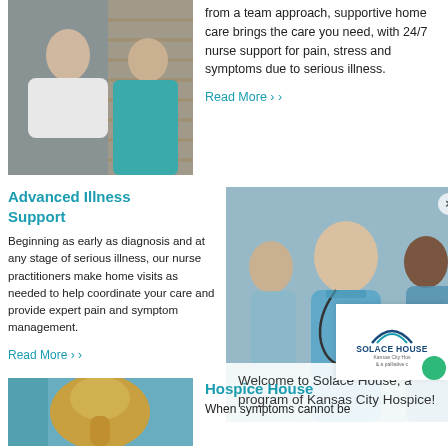[Figure (photo): Healthcare professional attending to a patient, nurse in teal scrubs]
from a team approach, supportive home care brings the care you need, with 24/7 nurse support for pain, stress and symptoms due to serious illness.
Read More >
Advanced Illness Support
Beginning as early as diagnosis and at any stage of serious illness, our nurse practitioners make home visits as needed to help coordinate your care and provide expert pain and symptom management.
Read More >
[Figure (photo): Team of medical professionals smiling, nurse in scrubs with stethoscope]
Welcome to Solace House, a program of Kansas City Hospice!
[Figure (logo): Solace House - Kansas City Hospice logo with arc graphic]
[Figure (photo): Woman with blonde hair in ponytail from behind]
Hospice House
When symptoms cannot be